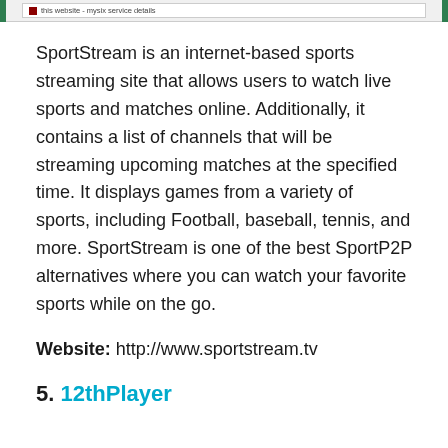[browser chrome / screenshot header bar]
SportStream is an internet-based sports streaming site that allows users to watch live sports and matches online. Additionally, it contains a list of channels that will be streaming upcoming matches at the specified time. It displays games from a variety of sports, including Football, baseball, tennis, and more. SportStream is one of the best SportP2P alternatives where you can watch your favorite sports while on the go.
Website: http://www.sportstream.tv
5. 12thPlayer